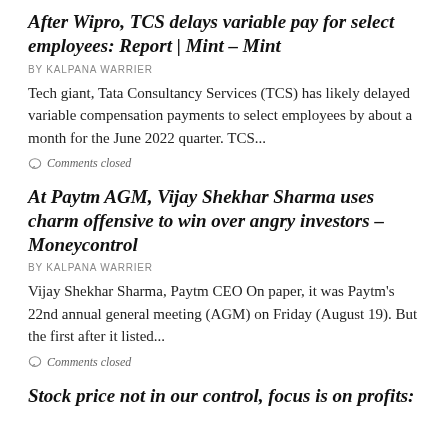After Wipro, TCS delays variable pay for select employees: Report | Mint – Mint
BY KALPANA WARRIER
Tech giant, Tata Consultancy Services (TCS) has likely delayed variable compensation payments to select employees by about a month for the June 2022 quarter. TCS...
Comments closed
At Paytm AGM, Vijay Shekhar Sharma uses charm offensive to win over angry investors – Moneycontrol
BY KALPANA WARRIER
Vijay Shekhar Sharma, Paytm CEO On paper, it was Paytm's 22nd annual general meeting (AGM) on Friday (August 19). But the first after it listed...
Comments closed
Stock price not in our control, focus is on profits: